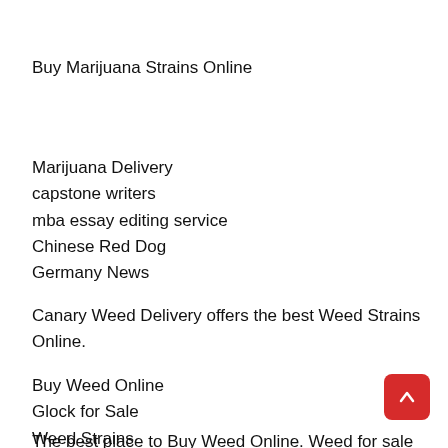Buy Marijuana Strains Online
Marijuana Delivery
capstone writers
mba essay editing service
Chinese Red Dog
Germany News
Canary Weed Delivery offers the best Weed Strains Online.
Buy Weed Online
Glock for Sale
Weed Strains
The best place to Buy Weed Online. Weed for sale